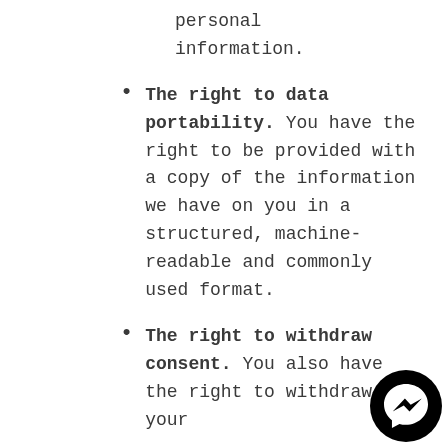personal information.
The right to data portability. You have the right to be provided with a copy of the information we have on you in a structured, machine-readable and commonly used format.
The right to withdraw consent. You also have the right to withdraw your